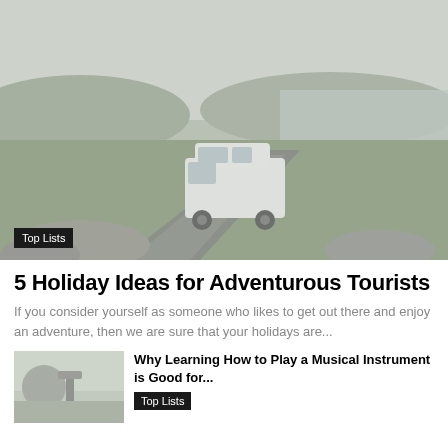[Figure (photo): A white camper van driving on a narrow winding road through a scenic coastal landscape with green hills, rocky outcrops, and water in the background under an overcast sky.]
Top Lists
5 Holiday Ideas for Adventurous Tourists
If you consider yourself as someone who likes to get out there and enjoy an adventure, then we are sure that your holidays are...
[Figure (photo): Small thumbnail image related to musical instruments article.]
Why Learning How to Play a Musical Instrument is Good for...
Top Lists